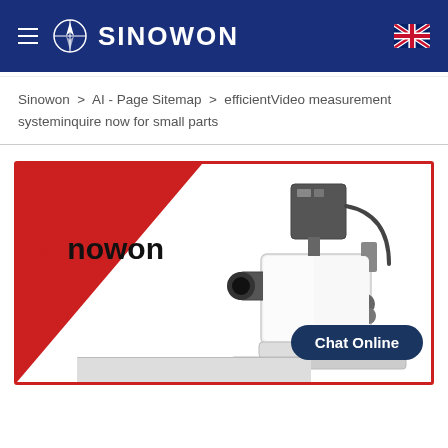Sinowon
Sinowon > AI - Page Sitemap > efficientVideo measurement systeminquire now for small parts
[Figure (photo): Sinowon branded product image showing a video measurement microscope/optical measuring instrument with a camera attachment on a white body, displayed against a red diagonal background with the Sinowon logo text. A 'Chat Online' button appears at the bottom right of the image.]